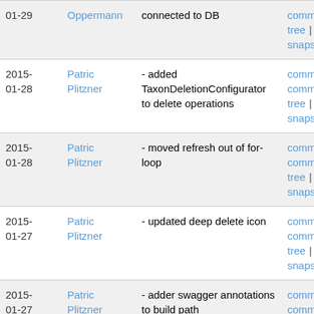| Date | Author | Message | Links |
| --- | --- | --- | --- |
| 01-29 | Oppermann | connected to DB | commitdiff | tree | snapshot |
| 2015-01-28 | Patric Plitzner | - added TaxonDeletionConfigurator to delete operations | commit | commitdiff | tree | snapshot |
| 2015-01-28 | Patric Plitzner | - moved refresh out of for-loop | commit | commitdiff | tree | snapshot |
| 2015-01-27 | Patric Plitzner | - updated deep delete icon | commit | commitdiff | tree | snapshot |
| 2015-01-27 | Patric Plitzner | - adder swagger annotations to build path | commit | commitdiff | tree | snapshot |
| 2015-01-27 | Patric Plitzner | - delete description CDM entity when invoking Delete... | commit | commitdiff | tree | |